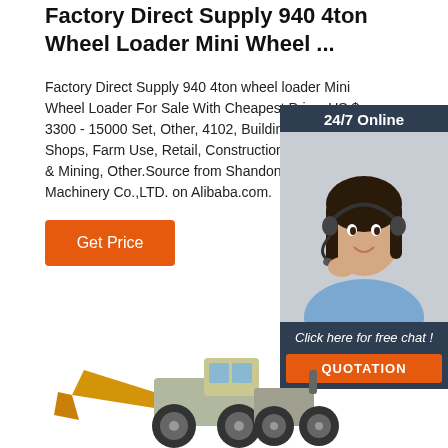Factory Direct Supply 940 4ton Wheel Loader Mini Wheel ...
Factory Direct Supply 940 4ton wheel loader Mini Wheel Loader For Sale With Cheapest Price, US $ 3300 - 15000 Set, Other, 4102, Building Material Shops, Farm Use, Retail, Construction works, Energy & Mining, Other.Source from Shandong Eachan Machinery Co.,LTD. on Alibaba.com.
[Figure (other): Chat widget with woman wearing headset, '24/7 Online' header, 'Click here for free chat!' text, and orange QUOTATION button]
[Figure (illustration): Wheel loader / mini wheel loader machinery illustration at bottom of page]
Get Price